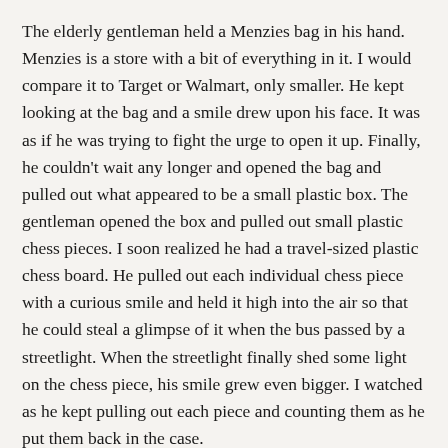The elderly gentleman held a Menzies bag in his hand. Menzies is a store with a bit of everything in it. I would compare it to Target or Walmart, only smaller. He kept looking at the bag and a smile drew upon his face. It was as if he was trying to fight the urge to open it up. Finally, he couldn't wait any longer and opened the bag and pulled out what appeared to be a small plastic box. The gentleman opened the box and pulled out small plastic chess pieces. I soon realized he had a travel-sized plastic chess board. He pulled out each individual chess piece with a curious smile and held it high into the air so that he could steal a glimpse of it when the bus passed by a streetlight. When the streetlight finally shed some light on the chess piece, his smile grew even bigger. I watched as he kept pulling out each piece and counting them as he put them back in the case.
I wondered who he had bought this small plastic chess game for. Was it for his grandchild? His own son or daughter? Or was it a gift for himself?